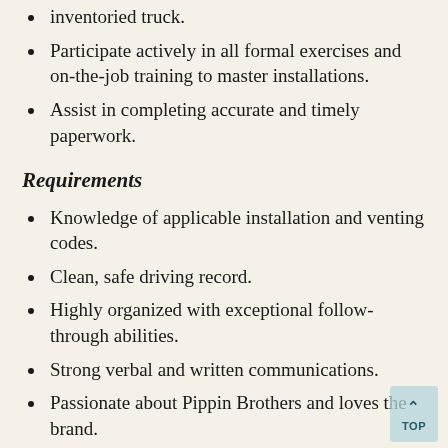inventoried truck.
Participate actively in all formal exercises and on-the-job training to master installations.
Assist in completing accurate and timely paperwork.
Requirements
Knowledge of applicable installation and venting codes.
Clean, safe driving record.
Highly organized with exceptional follow-through abilities.
Strong verbal and written communications.
Passionate about Pippin Brothers and loves the brand.
High integrity with advanced social skills and ability to develop relationships.